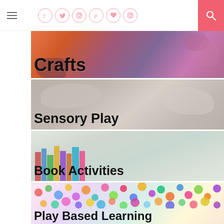Navigation header with hamburger menu, social icons (Facebook, Twitter, Instagram, Pinterest, Heart, Instagram), and search button
[Figure (illustration): Crafts category banner with colorful painted background showing orange, purple and pink hues with bold text 'Crafts']
[Figure (illustration): Sensory Play category banner with gray clay/dough textured background and bold text 'Sensory Play']
[Figure (illustration): Book Activities category banner with blurred colorful books background and bold text 'Book Activities']
[Figure (illustration): Play Based Learning category banner with colorful beads/cereal background and bold text 'Play Based Learning']